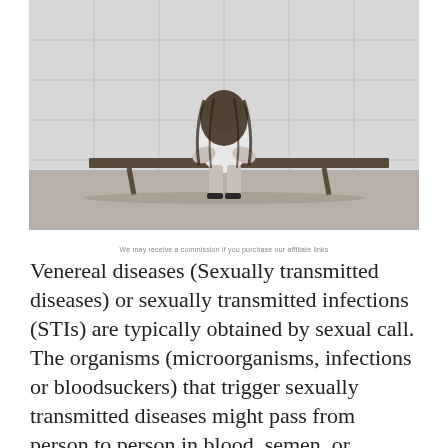[Figure (photo): Black and white photograph of a young woman with long hair sitting hunched over on a bench in what appears to be a clinical or institutional setting with tiled walls behind her. She is wearing a white dress and high heels, with her head bowed down.]
We may receive a commission if you purchase our affiliate links
Venereal diseases (Sexually transmitted diseases) or sexually transmitted infections (STIs) are typically obtained by sexual call. The organisms (microorganisms, infections or bloodsuckers) that trigger sexually transmitted diseases might pass from person to person in blood, semen, or vaginal and various other